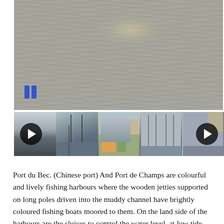[Figure (photo): Main video player showing a muddy water surface with ripple effects. A blue pause button is visible in the lower left corner of the video.]
[Figure (photo): Thumbnail strip showing five harbour/jetty scenes. Left and right navigation arrows (play buttons) are overlaid on the strip.]
Port du Bec. (Chinese port) And Port de Champs are colourful and lively fishing harbours where the wooden jetties supported on long poles driven into the muddy channel have brightly coloured fishing boats moored to them. On the land side of the harbours are the sluices to control the water level, at low tide the water rushes down past the